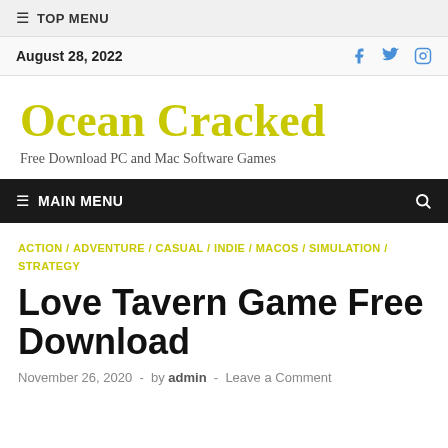≡ TOP MENU
August 28, 2022
Ocean Cracked
Free Download PC and Mac Software Games
≡ MAIN MENU
ACTION / ADVENTURE / CASUAL / INDIE / MACOS / SIMULATION / STRATEGY
Love Tavern Game Free Download
November 26, 2020  -  by admin  -  Leave a Comment